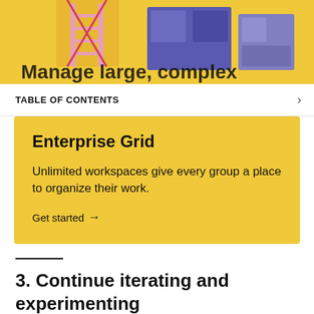[Figure (illustration): Illustration of people with ladders on a yellow background, partially cropped at top of page]
TABLE OF CONTENTS
Enterprise Grid
Unlimited workspaces give every group a place to organize their work.
Get started →
3. Continue iterating and experimenting